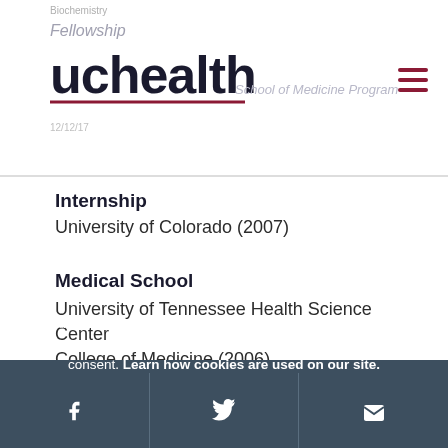[Figure (logo): UCHealth logo — stylized 'uchealth' text with dark red underline]
Fellowship
School of Medicine Program
Internship
University of Colorado (2007)
Medical School
University of Tennessee Health Science Center College of Medicine (2006)
We use cookies to make interactions with our website easy and meaningful. By continuing to use this site you are giving us your consent. Learn how cookies are used on our site.
Accept terms
[Figure (infographic): Footer social media icons: Facebook, Twitter, Email on dark blue-grey background]